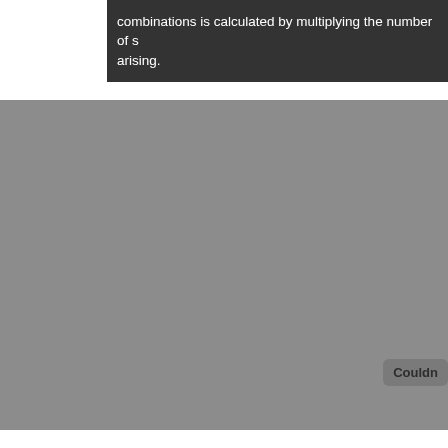combinations is calculated by multiplying the number of s arising.
[Figure (other): Large gray rectangular placeholder block occupying most of the lower portion of the page, with a small rounded badge reading 'Couldn' partially visible at the lower right.]